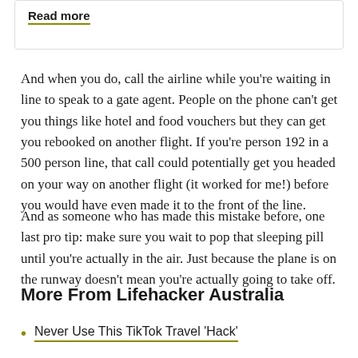Read more
And when you do, call the airline while you're waiting in line to speak to a gate agent. People on the phone can't get you things like hotel and food vouchers but they can get you rebooked on another flight. If you're person 192 in a 500 person line, that call could potentially get you headed on your way on another flight (it worked for me!) before you would have even made it to the front of the line.
And as someone who has made this mistake before, one last pro tip: make sure you wait to pop that sleeping pill until you're actually in the air. Just because the plane is on the runway doesn't mean you're actually going to take off.
More From Lifehacker Australia
Never Use This TikTok Travel 'Hack'